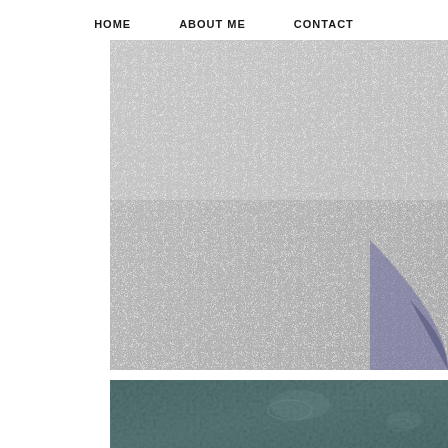HOME   ABOUT ME   CONTACT
[Figure (photo): Close-up photo of a shimmery silver/metallic glitter or sparkle texture surface, with a dark shadow area in the lower right corner]
[Figure (photo): Close-up photo of a muted teal/grey-green smooth surface with faint circular impressions or bubbles]